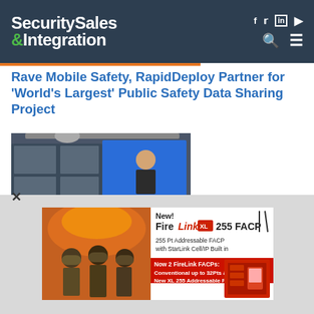Security Sales & Integration
Rave Mobile Safety, RapidDeploy Partner for 'World's Largest' Public Safety Data Sharing Project
[Figure (photo): Three men standing in front of a large video wall display in a modern conference room, camera equipment visible overhead.]
[Figure (photo): Advertisement: New! FireLink XL 255 FACP. 255 Pt Addressable FACP with StarLink Cell/IP Built in. Now 2 FireLink FACPs: Conventional up to 32Pts & New XL 255 Addressable Pts. Shows firefighters in background and red fire alarm control panel equipment.]